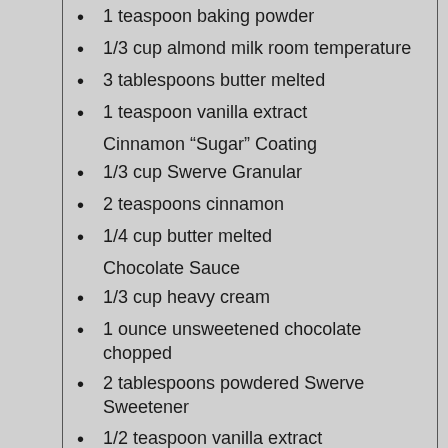1 teaspoon baking powder
1/3 cup almond milk room temperature
3 tablespoons butter melted
1 teaspoon vanilla extract
Cinnamon “Sugar” Coating
1/3 cup Swerve Granular
2 teaspoons cinnamon
1/4 cup butter melted
Chocolate Sauce
1/3 cup heavy cream
1 ounce unsweetened chocolate chopped
2 tablespoons powdered Swerve Sweetener
1/2 teaspoon vanilla extract
Directions
Waffles